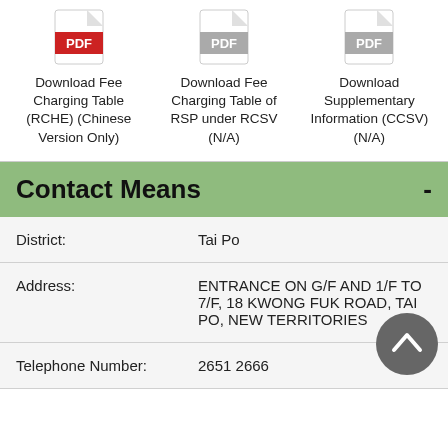[Figure (illustration): Red PDF icon for Download Fee Charging Table (RCHE) (Chinese Version Only)]
Download Fee Charging Table (RCHE) (Chinese Version Only)
[Figure (illustration): Grey PDF icon for Download Fee Charging Table of RSP under RCSV (N/A)]
Download Fee Charging Table of RSP under RCSV (N/A)
[Figure (illustration): Grey PDF icon for Download Supplementary Information (CCSV) (N/A)]
Download Supplementary Information (CCSV) (N/A)
Contact Means -
| Field | Value |
| --- | --- |
| District: | Tai Po |
| Address: | ENTRANCE ON G/F AND 1/F TO 7/F, 18 KWONG FUK ROAD, TAI PO, NEW TERRITORIES |
| Telephone Number: | 2651 2666 |